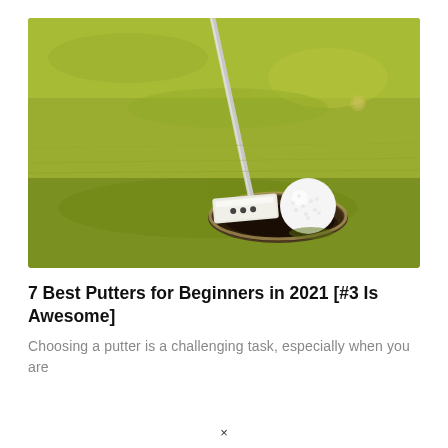[Figure (photo): Close-up photo of a golf putter and golf ball on green grass near a hole. The putter head (white/silver with three dark dots) is positioned next to the white golf ball at the edge of the cup. Yellowish-green grass texture fills the background.]
7 Best Putters for Beginners in 2021 [#3 Is Awesome]
Choosing a putter is a challenging task, especially when you are